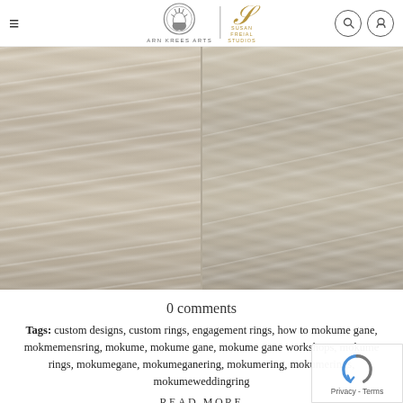ARN KREES ARTS | SUSAN FREIAL STUDIOS
[Figure (photo): Two close-up photographs of mokume gane metal rings side by side, showing distinctive wood-grain layered metal patterns in silver, gold, and bronze tones]
0 comments
Tags: custom designs, custom rings, engagement rings, how to mokume gane, mokmemensring, mokume, mokume gane, mokume gane workshops, mokume rings, mokumegane, mokumeganering, mokumering, mokumerings, mokumeweddingring
READ MORE